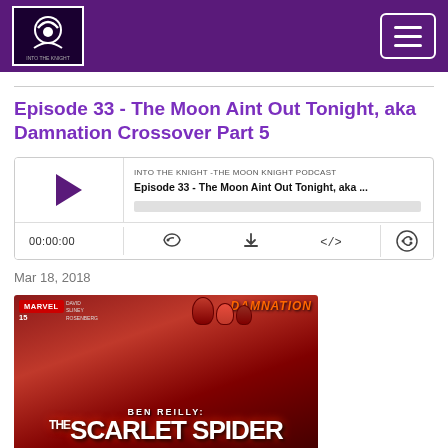Into The Knight - The Moon Knight Podcast
Episode 33 - The Moon Aint Out Tonight, aka Damnation Crossover Part 5
[Figure (screenshot): Audio podcast player widget showing episode 33, with play button, progress bar, time 00:00:00, and controls for subscribe, download, embed, and share]
Mar 18, 2018
[Figure (photo): Comic book cover: Ben Reilly: The Scarlet Spider #15, Marvel Comics. Damnation crossover. Credits: David, Sliney, Rosenberg. Shows red-costumed figure with villain characters above.]